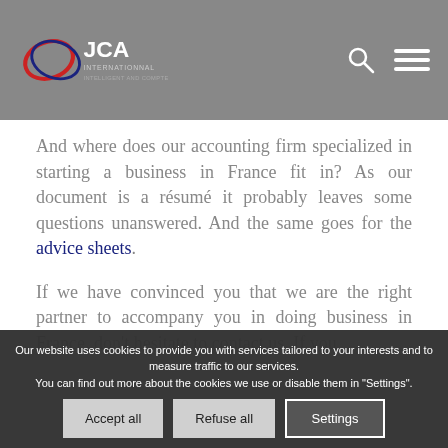[Figure (logo): JCA accounting firm logo with stylized oval graphic in red and blue, with text 'JCA' and subtitle text below]
And where does our accounting firm specialized in starting a business in France fit in? As our document is a résumé it probably leaves some questions unanswered. And the same goes for the advice sheets.
If we have convinced you that we are the right partner to accompany you in doing business in France, don't hesitate to contact us. If you
Happy reading and we await you...
Our website uses cookies to provide you with services tailored to your interests and to measure traffic to our services.
You can find out more about the cookies we use or disable them in "Settings".